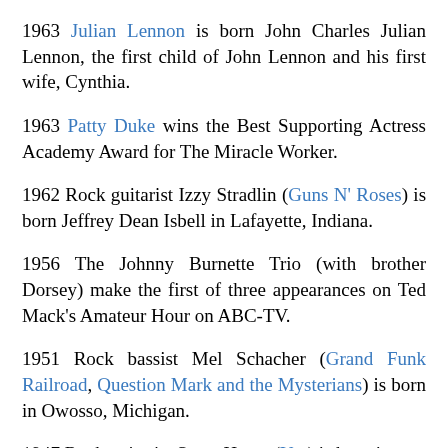1963 Julian Lennon is born John Charles Julian Lennon, the first child of John Lennon and his first wife, Cynthia.
1963 Patty Duke wins the Best Supporting Actress Academy Award for The Miracle Worker.
1962 Rock guitarist Izzy Stradlin (Guns N' Roses) is born Jeffrey Dean Isbell in Lafayette, Indiana.
1956 The Johnny Burnette Trio (with brother Dorsey) make the first of three appearances on Ted Mack's Amateur Hour on ABC-TV.
1951 Rock bassist Mel Schacher (Grand Funk Railroad, Question Mark and the Mysterians) is born in Owosso, Michigan.
1947 Rock guitarist Steve Howe (Yes) is born in